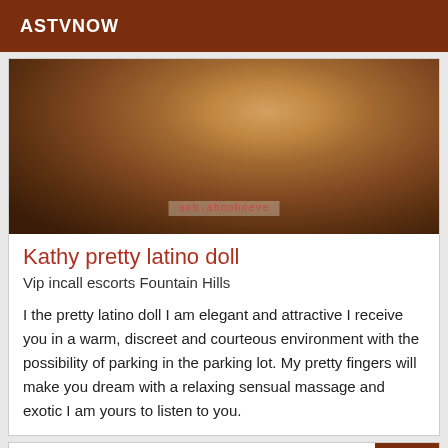ASTVNOW
[Figure (photo): Close-up photo of a person's midsection with dark background and watermark text 'aob.ahooboeve']
Kathy pretty latino doll
Vip incall escorts Fountain Hills
I the pretty latino doll I am elegant and attractive I receive you in a warm, discreet and courteous environment with the possibility of parking in the parking lot. My pretty fingers will make you dream with a relaxing sensual massage and exotic I am yours to listen to you.
VIP